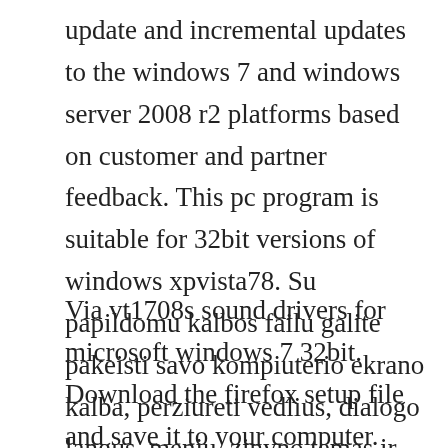update and incremental updates to the windows 7 and windows server 2008 r2 platforms based on customer and partner feedback. This pc program is suitable for 32bit versions of windows xpvista78. Su papildomu kalbos failu galite pakeisti savo kompiuterio ekrano kalba, perziureti vedlius, dialogo langus, meniu, zinyno temas ir.
Via vt1708s sound drivers for microsoft windows 7 32bit. Download the firefox setup file and save it to your computer. Mar 27, 2017 tech support scams are an industrywide